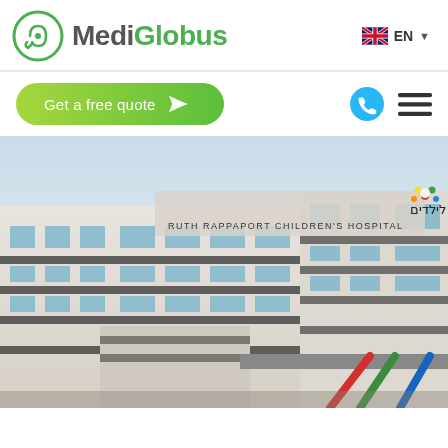MediGlobus | EN
Get a free quote
[Figure (photo): Exterior photo of Ruth Rappaport Children's Hospital building with Hebrew text 'בית חולים רות רפפורט לילדים' and English text 'RUTH RAPPAPORT CHILDREN'S HOSPITAL' on the facade, with colorful diagonal sculpture elements at entrance]